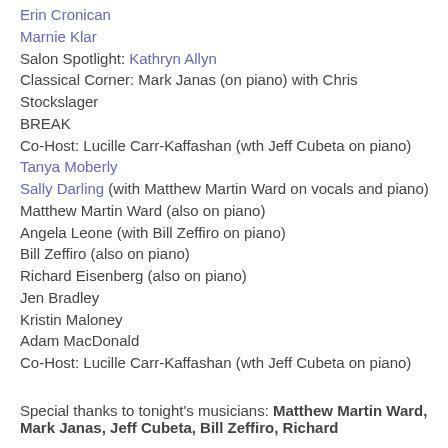Erin Cronican
Marnie Klar
Salon Spotlight: Kathryn Allyn
Classical Corner: Mark Janas (on piano) with Chris Stockslager
BREAK
Co-Host: Lucille Carr-Kaffashan (wth Jeff Cubeta on piano)
Tanya Moberly
Sally Darling (with Matthew Martin Ward on vocals and piano)
Matthew Martin Ward (also on piano)
Angela Leone (with Bill Zeffiro on piano)
Bill Zeffiro (also on piano)
Richard Eisenberg (also on piano)
Jen Bradley
Kristin Maloney
Adam MacDonald
Co-Host: Lucille Carr-Kaffashan (wth Jeff Cubeta on piano)
Special thanks to tonight's musicians: Matthew Martin Ward, Mark Janas, Jeff Cubeta, Bill Zeffiro, Richard